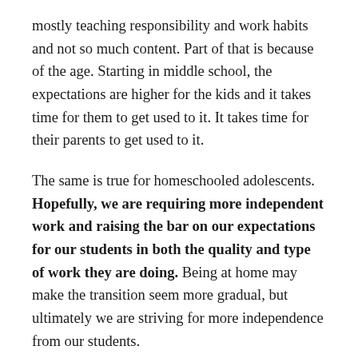mostly teaching responsibility and work habits and not so much content. Part of that is because of the age. Starting in middle school, the expectations are higher for the kids and it takes time for them to get used to it. It takes time for their parents to get used to it.
The same is true for homeschooled adolescents. Hopefully, we are requiring more independent work and raising the bar on our expectations for our students in both the quality and type of work they are doing. Being at home may make the transition seem more gradual, but ultimately we are striving for more independence from our students.